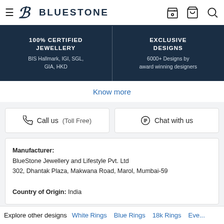BlueStone
100% CERTIFIED JEWELLERY - BIS Hallmark, IGI, SGL, GIA, HKD | EXCLUSIVE DESIGNS - 6000+ Designs by award winning designers
Know more
Call us (Toll Free)
Chat with us
Manufacturer:
BlueStone Jewellery and Lifestyle Pvt. Ltd
302, Dhantak Plaza, Makwana Road, Marol, Mumbai-59

Country of Origin: India
Explore other designs  White Rings  Blue Rings  18k Rings  Eve...